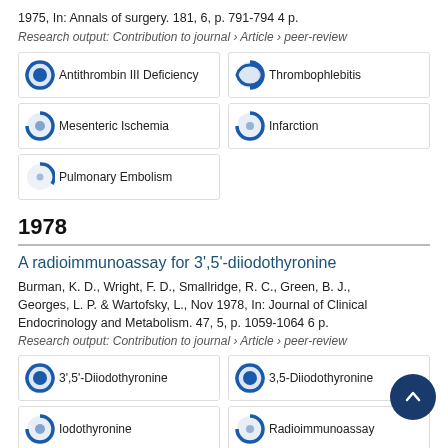1975, In: Annals of surgery. 181, 6, p. 791-794 4 p.
Research output: Contribution to journal › Article › peer-review
Antithrombin III Deficiency
Thrombophlebitis
Mesenteric Ischemia
Infarction
Pulmonary Embolism
1978
A radioimmunoassay for 3',5'-diiodothyronine
Burman, K. D., Wright, F. D., Smallridge, R. C., Green, B. J., Georges, L. P. & Wartofsky, L., Nov 1978, In: Journal of Clinical Endocrinology and Metabolism. 47, 5, p. 1059-1064 6 p.
Research output: Contribution to journal › Article › peer-review
3',5'-Diiodothyronine
3,5-Diiodothyronine
Iodothyronine
Radioimmunoassay
Serum